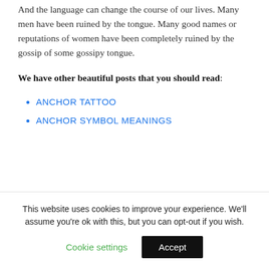And the language can change the course of our lives. Many men have been ruined by the tongue. Many good names or reputations of women have been completely ruined by the gossip of some gossipy tongue.
We have other beautiful posts that you should read:
ANCHOR TATTOO
ANCHOR SYMBOL MEANINGS
This website uses cookies to improve your experience. We'll assume you're ok with this, but you can opt-out if you wish.
Cookie settings | Accept